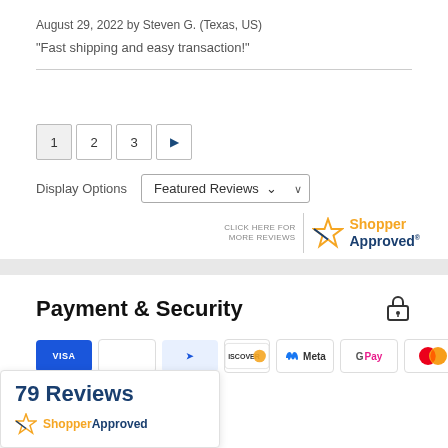August 29, 2022 by Steven G. (Texas, US)
“Fast shipping and easy transaction!”
[Figure (other): Pagination controls showing pages 1, 2, 3 and a forward arrow button]
Display Options
[Figure (other): Featured Reviews dropdown selector]
[Figure (logo): Shopper Approved logo with text CLICK HERE FOR MORE REVIEWS]
Payment & Security
[Figure (other): Payment method icons: Discover, Meta, Google Pay, Mastercard, PayPal, Apple Pay]
[Figure (other): 79 Reviews badge with Shopper Approved logo]